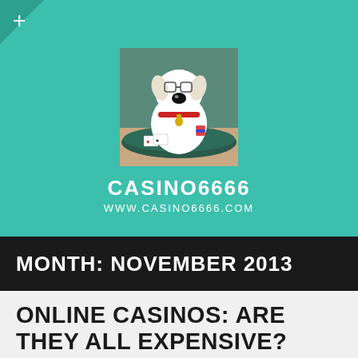[Figure (illustration): Cartoon dog (Brian Griffin from Family Guy) sitting at a poker/casino table with chips and cards, wearing a red collar]
CASINO6666
WWW.CASINO6666.COM
MONTH: NOVEMBER 2013
ONLINE CASINOS: ARE THEY ALL EXPENSIVE?